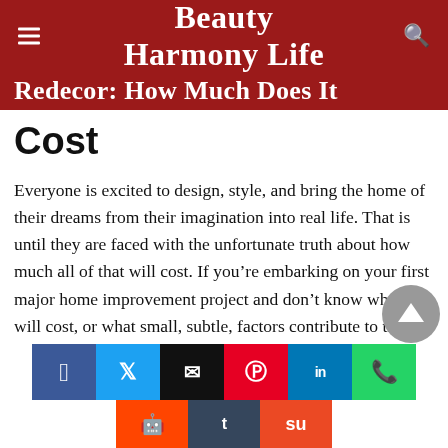Beauty Harmony Life
Cost
Everyone is excited to design, style, and bring the home of their dreams from their imagination into real life. That is until they are faced with the unfortunate truth about how much all of that will cost. If you’re embarking on your first major home improvement project and don’t know what it will cost, or what small, subtle, factors contribute to the final price, we’ve got everything you need to know right here.